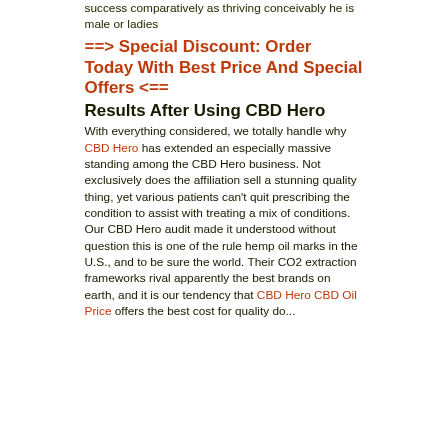success comparatively as thriving conceivably he is male or ladies
==> Special Discount: Order Today With Best Price And Special Offers <==
Results After Using CBD Hero
With everything considered, we totally handle why CBD Hero has extended an especially massive standing among the CBD Hero business. Not exclusively does the affiliation sell a stunning quality thing, yet various patients can't quit prescribing the condition to assist with treating a mix of conditions. Our CBD Hero audit made it understood without question this is one of the rule hemp oil marks in the U.S., and to be sure the world. Their CO2 extraction frameworks rival apparently the best brands on earth, and it is our tendency that CBD Hero CBD Oil Price offers the best cost for quality do...